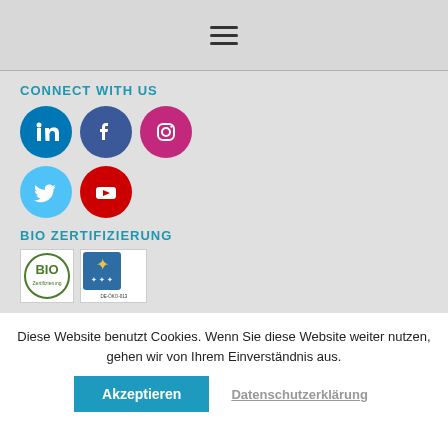[Figure (other): Hamburger menu icon (three horizontal lines)]
CONNECT WITH US
[Figure (other): Social media icons: LinkedIn (blue circle), Facebook (dark blue circle), Instagram (pink circle), Twitter (light blue circle), YouTube (red circle)]
BIO ZERTIFIZIERUNG
[Figure (logo): BIO certification logos: BIO logo with green circle and EU organic agriculture star logo]
Diese Website benutzt Cookies. Wenn Sie diese Website weiter nutzen, gehen wir von Ihrem Einverständnis aus.
Akzeptieren
Datenschutzerklärung